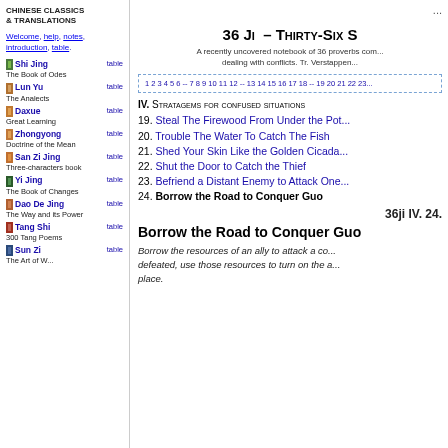CHINESE CLASSICS & TRANSLATIONS
Welcome, help, notes, introduction, table.
Shi Jing
table
The Book of Odes
Lun Yu
table
The Analects
Daxue
table
Great Learning
Zhongyong
table
Doctrine of the Mean
San Zi Jing
table
Three-characters book
Yi Jing
table
The Book of Changes
Dao De Jing
table
The Way and its Power
Tang Shi
table
300 Tang Poems
Sun Zi
table
The Art of W...
...
36 Ji – Thirty-Six S
A recently uncovered notebook of 36 proverbs com... dealing with conflicts. Tr. Verstappen...
1 2 3 4 5 6 -- 7 8 9 10 11 12 -- 13 14 15 16 17 18 -- 19 20 21 22 23...
IV. Stratagems for confused situations
19. Steal The Firewood From Under the Pot...
20. Trouble The Water To Catch The Fish
21. Shed Your Skin Like the Golden Cicada...
22. Shut the Door to Catch the Thief
23. Befriend a Distant Enemy to Attack One...
24. Borrow the Road to Conquer Guo
36ji IV. 24.
Borrow the Road to Conquer Guo
Borrow the resources of an ally to attack a co... defeated, use those resources to turn on the a... place.